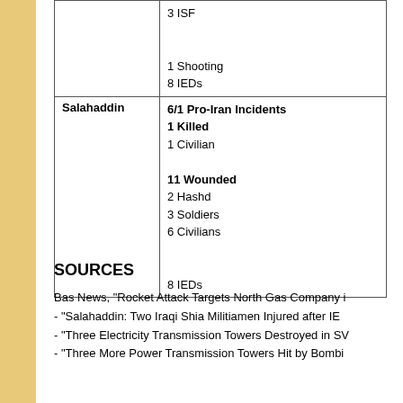| Location | Information |
| --- | --- |
|  | 3 ISF

1 Shooting
8 IEDs |
| Salahaddin | 6/1 Pro-Iran Incidents
1 Killed
1 Civilian
11 Wounded
2 Hashd
3 Soldiers
6 Civilians

8 IEDs |
SOURCES
Bas News, "Rocket Attack Targets North Gas Company i...
- "Salahaddin: Two Iraqi Shia Militiamen Injured after IE...
- "Three Electricity Transmission Towers Destroyed in SV...
- "Three More Power Transmission Towers Hit by Bombi...